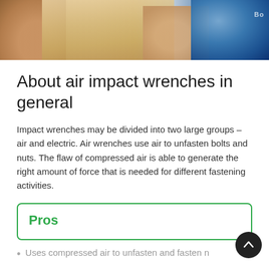[Figure (photo): Hands working with wood and a power tool (Bosch drill/driver) — a person holding a piece of wood with a blue Bosch power tool visible on the right]
About air impact wrenches in general
Impact wrenches may be divided into two large groups – air and electric. Air wrenches use air to unfasten bolts and nuts. The flaw of compressed air is able to generate the right amount of force that is needed for different fastening activities.
Pros
Uses compressed air to unfasten and fasten n…